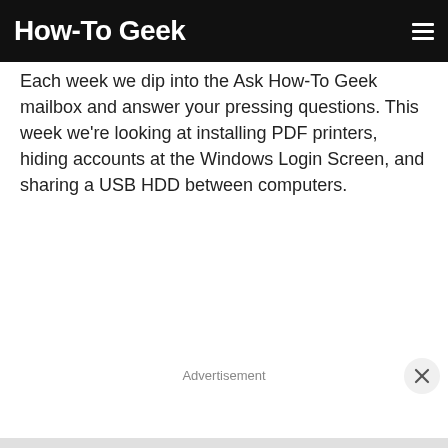How-To Geek
Each week we dip into the Ask How-To Geek mailbox and answer your pressing questions. This week we're looking at installing PDF printers, hiding accounts at the Windows Login Screen, and sharing a USB HDD between computers.
Advertisement